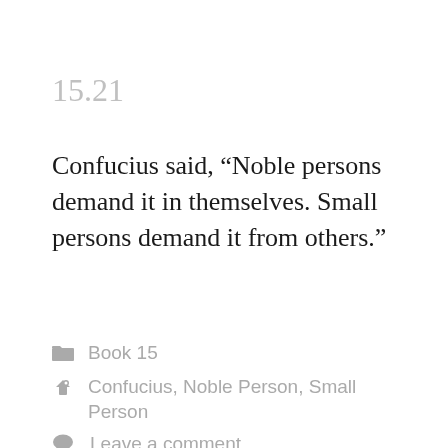15.21
Confucius said, “Noble persons demand it in themselves. Small persons demand it from others.”
Book 15
Confucius, Noble Person, Small Person
Leave a comment